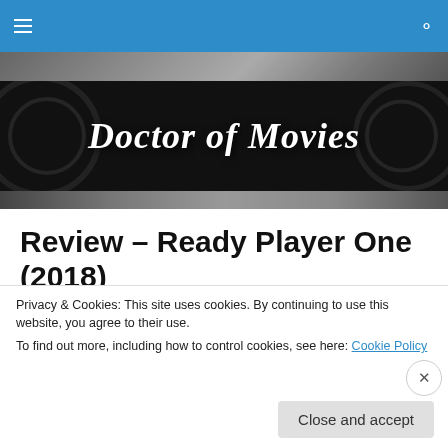Navigation bar with hamburger menu and search icon
[Figure (screenshot): Film reel background strip]
[Figure (screenshot): Doctor of Movies website banner with dark background and film reels]
Review – Ready Player One (2018)
[Figure (screenshot): Warner Bros YouTube video thumbnail for READY PLAYER ONE Official Trailer]
Privacy & Cookies: This site uses cookies. By continuing to use this website, you agree to their use.
To find out more, including how to control cookies, see here: Cookie Policy
Close and accept